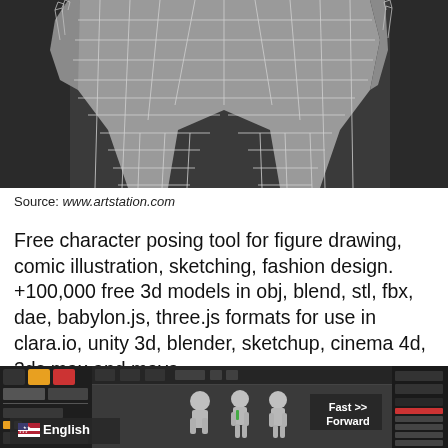[Figure (illustration): 3D wireframe mesh of a human figure's lower body (torso, legs, hands visible), shown with white grid lines on dark gray background. Top portion of a 3D modeling viewport.]
Source: www.artstation.com
Free character posing tool for figure drawing, comic illustration, sketching, fashion design. +100,000 free 3d models in obj, blend, stl, fbx, dae, babylon.js, three.js formats for use in clara.io, unity 3d, blender, sketchup, cinema 4d, 3ds max and maya.
[Figure (screenshot): Screenshot of a 3D modeling software (appears to be Blender or similar) showing multiple character mannequin models in a viewport, with sidebar panels on left and right. A dark overlay badge reads 'English' with a US flag icon. Text overlay in the center-right reads 'Fast >> Forward'.]